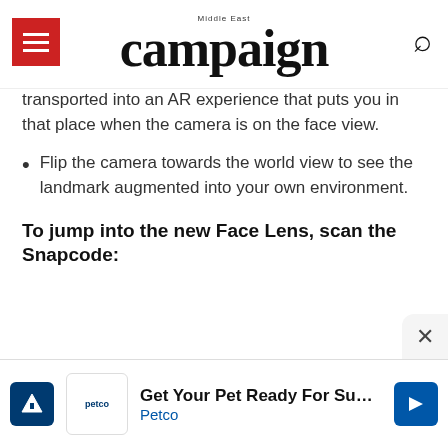campaign Middle East
transported into an AR experience that puts you in that place when the camera is on the face view.
Flip the camera towards the world view to see the landmark augmented into your own environment.
To jump into the new Face Lens, scan the Snapcode:
To set up your personalized Actiomoji:
Simply tap on your Bitmoji in the Snap Map, select...
[Figure (other): Petco advertisement banner: Get Your Pet Ready For Summer]